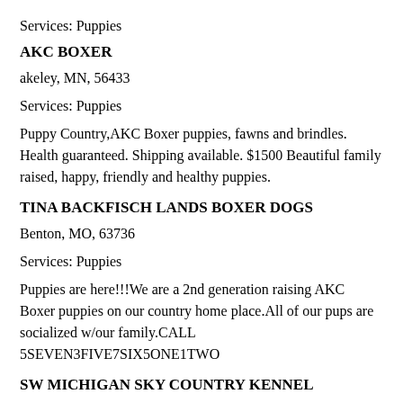Services: Puppies
AKC BOXER
akeley, MN, 56433
Services: Puppies
Puppy Country,AKC Boxer puppies, fawns and brindles. Health guaranteed. Shipping available. $1500 Beautiful family raised, happy, friendly and healthy puppies.
TINA BACKFISCH LANDS BOXER DOGS
Benton, MO, 63736
Services: Puppies
Puppies are here!!!We are a 2nd generation raising AKC Boxer puppies on our country home place.All of our pups are socialized w/our family.CALL 5SEVEN3FIVE7SIX5ONE1TWO
SW MICHIGAN SKY COUNTRY KENNEL
Paw Paw, MI, 49079